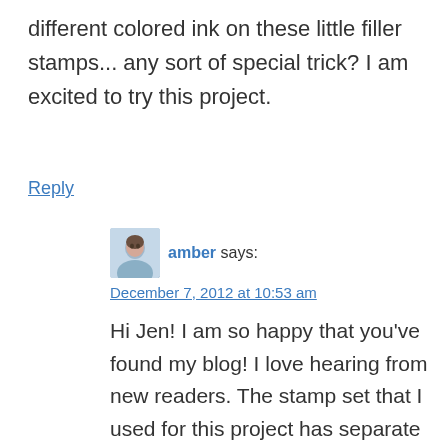different colored ink on these little filler stamps... any sort of special trick? I am excited to try this project.
Reply
amber says:
December 7, 2012 at 10:53 am
Hi Jen! I am so happy that you've found my blog! I love hearing from new readers. The stamp set that I used for this project has separate outline and filler images. This makes it really easy to stamp the outline in